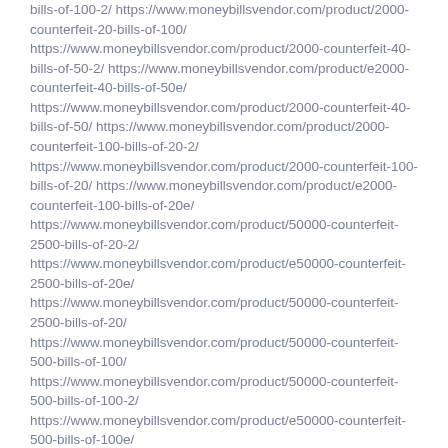bills-of-100-2/ https://www.moneybillsvendor.com/product/2000-counterfeit-20-bills-of-100/ https://www.moneybillsvendor.com/product/2000-counterfeit-40-bills-of-50-2/ https://www.moneybillsvendor.com/product/e2000-counterfeit-40-bills-of-50e/ https://www.moneybillsvendor.com/product/2000-counterfeit-40-bills-of-50/ https://www.moneybillsvendor.com/product/2000-counterfeit-100-bills-of-20-2/ https://www.moneybillsvendor.com/product/2000-counterfeit-100-bills-of-20/ https://www.moneybillsvendor.com/product/e2000-counterfeit-100-bills-of-20e/ https://www.moneybillsvendor.com/product/50000-counterfeit-2500-bills-of-20-2/ https://www.moneybillsvendor.com/product/e50000-counterfeit-2500-bills-of-20e/ https://www.moneybillsvendor.com/product/50000-counterfeit-2500-bills-of-20/ https://www.moneybillsvendor.com/product/50000-counterfeit-500-bills-of-100/ https://www.moneybillsvendor.com/product/50000-counterfeit-500-bills-of-100-2/ https://www.moneybillsvendor.com/product/e50000-counterfeit-500-bills-of-100e/ https://www.moneybillsvendor.com/product/50000-counterfeit-1000-bills-of-50/ https://www.moneybillsvendor.com/product/e50000-counterfeit-